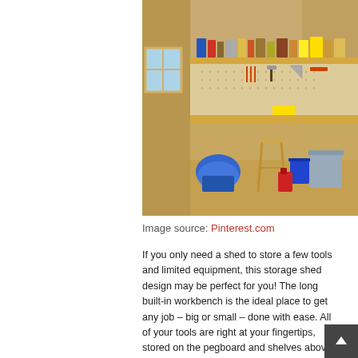[Figure (photo): Interior of a wooden storage shed with a long built-in workbench along the back wall. Upper shelf holds various cans, containers and supplies. Pegboard below the shelf displays hanging tools including hammers, saws, and other hand tools. Below the workbench sits a stool, a shop vacuum, a blue bucket, a red gas can, and a grey storage bin.]
Image source: Pinterest.com
If you only need a shed to store a few tools and limited equipment, this storage shed design may be perfect for you! The long built-in workbench is the ideal place to get any job – big or small – done with ease. All of your tools are right at your fingertips, stored on the pegboard and shelves above the bench. The bench is lifted higher off